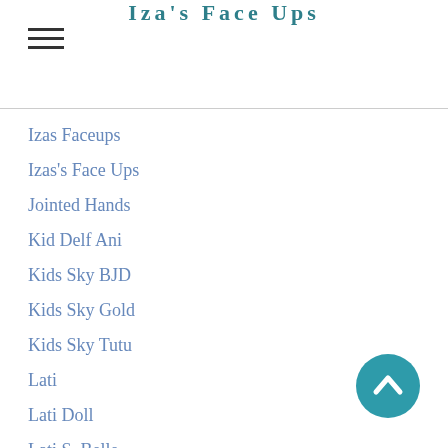Iza's Face Ups
Izas Faceups
Izas's Face Ups
Jointed Hands
Kid Delf Ani
Kids Sky BJD
Kids Sky Gold
Kids Sky Tutu
Lati
Lati Doll
Lati S. Belle
Legit Bjd
Lillycat
Lillycat Chibbi-Lana
Lillycat Lyse
Lillycat Ninon
Limhwa
Limhwa EOS Nina